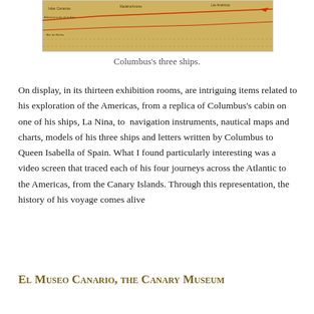[Figure (map): A historical golden-toned map showing routes, likely related to Columbus's voyages, with red route lines and place name labels on a tan/ochre background.]
Columbus's three ships.
On display, in its thirteen exhibition rooms, are intriguing items related to his exploration of the Americas, from a replica of Columbus's cabin on one of his ships, La Nina, to  navigation instruments, nautical maps and charts, models of his three ships and letters written by Columbus to Queen Isabella of Spain. What I found particularly interesting was a video screen that traced each of his four journeys across the Atlantic to the Americas, from the Canary Islands. Through this representation, the history of his voyage comes alive
El Museo Canario, the Canary Museum